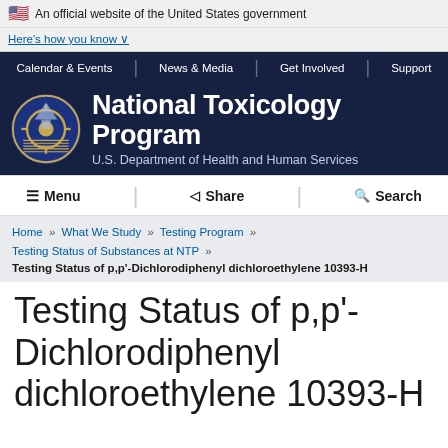An official website of the United States government
Here's how you know ˅
Calendar & Events | News & Media | Get Involved | Support
[Figure (logo): National Toxicology Program logo — circular emblem with stylized NTP graphic in blue and gold, with text 'National Toxicology Program' and 'U.S. Department of Health and Human Services']
≡ Menu  ◁ Share  🔍 Search
Home » What We Study » Testing Program » Testing Status of Substances at NTP » Testing Status of p,p'-Dichlorodiphenyl dichloroethylene 10393-H
Testing Status of p,p'-Dichlorodiphenyl dichloroethylene 10393-H